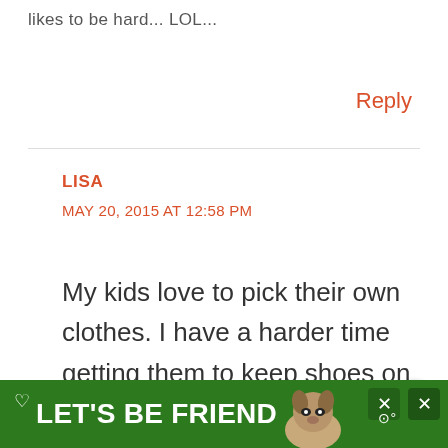likes to be hard... LOL...
Reply
LISA
MAY 20, 2015 AT 12:58 PM
My kids love to pick their own clothes. I have a harder time getting them to keep shoes on their feet than clothes on their...
[Figure (other): Green advertisement banner at bottom reading LET'S BE FRIENDS with a dog image and close buttons]